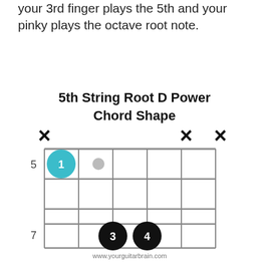your 3rd finger plays the 5th and your pinky plays the octave root note.
5th String Root D Power Chord Shape
[Figure (illustration): Guitar chord diagram for 5th String Root D Power Chord Shape. Shows a fretboard grid with X marks over strings 1, 5, and 6 (muted). A teal/cyan circle with number 1 is on string 5 at fret 5. A small grey dot is on string 4 at fret 5. Two black circles with numbers 3 and 4 are on strings 4 and 3 at fret 7. Fret numbers 5 and 7 are shown on the left. URL www.yourguitarbrain.com shown at bottom of diagram.]